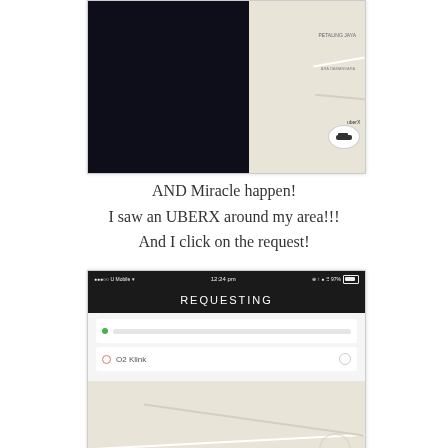[Figure (screenshot): Screenshot of Uber app showing a map with dark (night) area on left and light map on right, with a car icon visible]
AND Miracle happen!
I saw an UBERX around my area!!!
And I click on the request!
[Figure (screenshot): Screenshot of Uber app showing REQUESTING screen with status bar (U Mobile, 12:24 pm, 97%), a dark header bar with REQUESTING text, input fields showing a blurred pickup location and destination 'O2 Klink', and a map below]